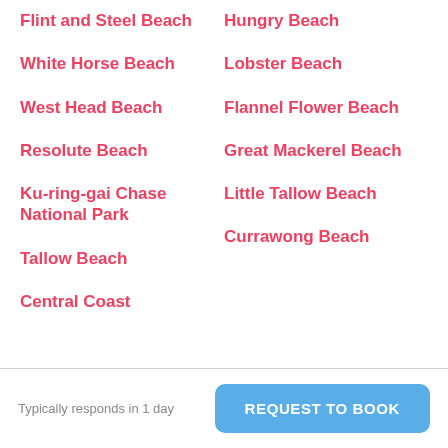Flint and Steel Beach
Hungry Beach
White Horse Beach
Lobster Beach
West Head Beach
Flannel Flower Beach
Resolute Beach
Great Mackerel Beach
Ku-ring-gai Chase National Park
Little Tallow Beach
Tallow Beach
Currawong Beach
Central Coast
Typically responds in 1 day   REQUEST TO BOOK